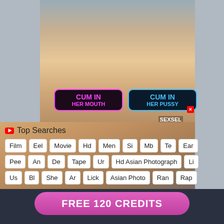[Figure (photo): Person in classroom setting with pink hair, wearing white top and plaid skirt]
CUM IN HER MOUTH
CUM IN HER PUSSY
[Figure (photo): Close-up photo]
Top Searches
Film
Eel
Movie
Hd
Men
Si
Mb
Te
Ear
Pee
An
De
Tape
Ur
Hd Asian Photograph
Li
Us
Bl
She
Ar
Lick
Asian Photo
Ran
Rap
FREE 120 CREDITS